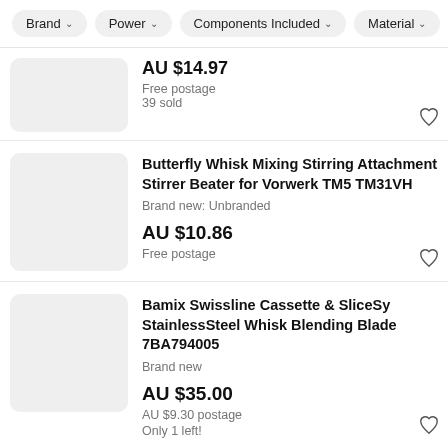Brand ∨  Power ∨  Components Included ∨  Material ∨
AU $14.97
Free postage
39 sold
Butterfly Whisk Mixing Stirring Attachment Stirrer Beater for Vorwerk TM5 TM31VH
Brand new: Unbranded
AU $10.86
Free postage
Bamix Swissline Cassette & SliceSy StainlessSteel Whisk Blending Blade 7BA794005
Brand new
AU $35.00
AU $9.30 postage
Only 1 left!